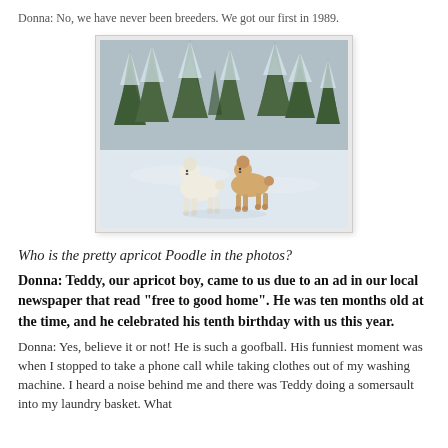Donna: No, we have never been breeders. We got our first in 1989.
[Figure (photo): Two standard poodles (one white, one apricot/cream) standing in snow with snow-covered evergreen trees in background]
Who is the pretty apricot Poodle in the photos?
Donna: Teddy, our apricot boy, came to us due to an ad in our local newspaper that read "free to good home". He was ten months old at the time, and he celebrated his tenth birthday with us this year.
Donna: Yes, believe it or not! He is such a goofball. His funniest moment was when I stopped to take a phone call while taking clothes out of my washing machine. I heard a noise behind me and there was Teddy doing a somersault into my laundry basket. What